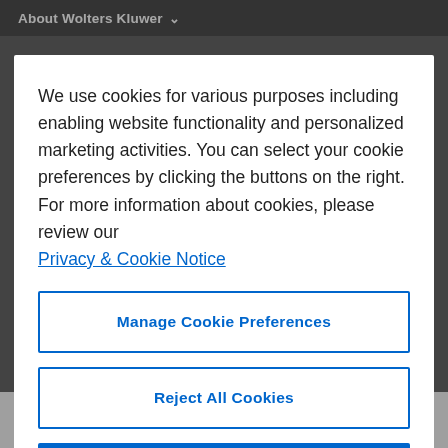About Wolters Kluwer
We use cookies for various purposes including enabling website functionality and personalized marketing activities. You can select your cookie preferences by clicking the buttons on the right. For more information about cookies, please review our Privacy & Cookie Notice
Manage Cookie Preferences
Reject All Cookies
Accept All Cookies
Carol Kokinis-Graves, an attorney, is a senior